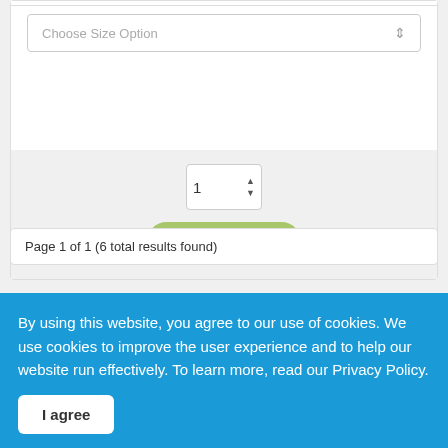[Figure (screenshot): E-commerce product page snippet showing a 'Choose Size Option' dropdown selector with up/down arrows, a white content area below it, and a gray bottom section containing a quantity spinner (showing value 1) and a green rounded 'Add to Cart' button.]
Page 1 of 1 (6 total results found)
By using this website, you agree to our use of cookies. We use cookies to improve the user experience and to help our website run effectively. To learn more, read our Privacy Policy.
I agree